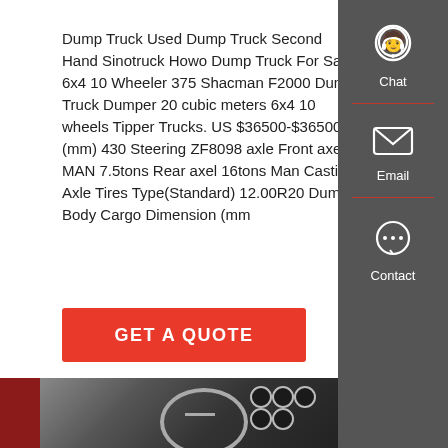Dump Truck Used Dump Truck Second Hand Sinotruck Howo Dump Truck For Sales 6x4 10 Wheeler 375 Shacman F2000 Dump Truck Dumper 20 cubic meters 6x4 10 wheels Tipper Trucks. US $36500-$36500 (mm) 430 Steering ZF8098 axle Front axel MAN 7.5tons Rear axel 16tons Man Casting Axle Tires Type(Standard) 12.00R20 Dump Body Cargo Dimension (mm
GET A QUOTE
[Figure (screenshot): Sidebar with Chat, Email, and Contact icons on dark grey background]
[Figure (photo): Interior of a truck cab showing steering wheel and dashboard with gauges]